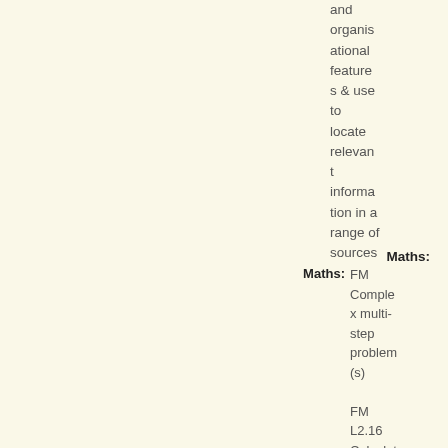and organisational features & use to locate relevant information in a range of sources
Maths:
FM Complex multi-step problem(s)
FM L2.16 Calculate